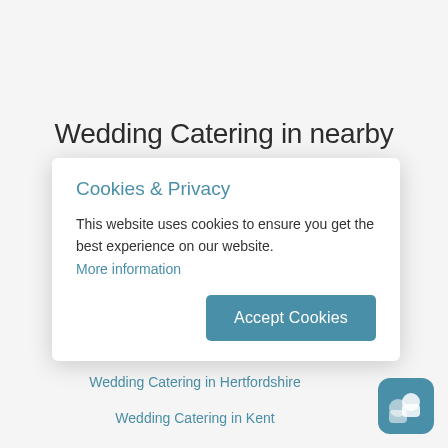Wedding Catering in nearby
Cookies & Privacy
This website uses cookies to ensure you get the best experience on our website. More information
Wedding Catering in Essex
Wedding Catering in Hertfordshire
Wedding Catering in Kent